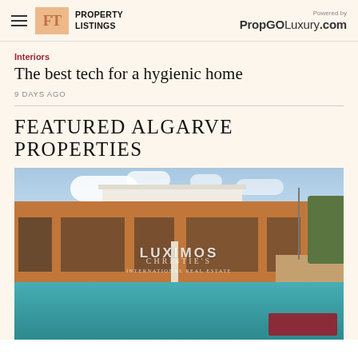FT PROPERTY LISTINGS | Powered by PropGOLuxury.com
Interiors
The best tech for a hygienic home
9 DAYS AGO
FEATURED ALGARVE PROPERTIES
[Figure (photo): Exterior photo of a luxury property in the Algarve, Portugal. The image shows a modern villa with orange/terracotta coloured walls, large glass doors/windows, a white upper storey with roof terrace, and a swimming pool in the foreground. Watermarks read LUXIMOS and CHRISTIE'S. A dark red CTA button is visible at the bottom right.]